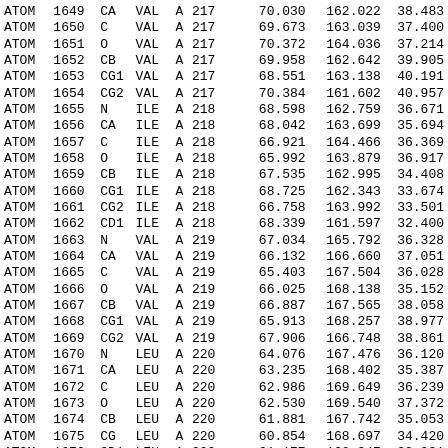| type | serial | name | res | chain | resseq |  | x | y | z |
| --- | --- | --- | --- | --- | --- | --- | --- | --- | --- |
| ATOM | 1649 | CA | VAL | A | 217 |  | 70.030 | 162.022 | 38.483 |
| ATOM | 1650 | C | VAL | A | 217 |  | 69.673 | 163.039 | 37.400 |
| ATOM | 1651 | O | VAL | A | 217 |  | 70.372 | 164.036 | 37.214 |
| ATOM | 1652 | CB | VAL | A | 217 |  | 69.958 | 162.642 | 39.905 |
| ATOM | 1653 | CG1 | VAL | A | 217 |  | 68.551 | 163.138 | 40.191 |
| ATOM | 1654 | CG2 | VAL | A | 217 |  | 70.384 | 161.602 | 40.957 |
| ATOM | 1655 | N | ILE | A | 218 |  | 68.598 | 162.759 | 36.671 |
| ATOM | 1656 | CA | ILE | A | 218 |  | 68.042 | 163.699 | 35.694 |
| ATOM | 1657 | C | ILE | A | 218 |  | 66.921 | 164.466 | 36.369 |
| ATOM | 1658 | O | ILE | A | 218 |  | 65.992 | 163.879 | 36.917 |
| ATOM | 1659 | CB | ILE | A | 218 |  | 67.535 | 162.995 | 34.408 |
| ATOM | 1660 | CG1 | ILE | A | 218 |  | 68.725 | 162.343 | 33.674 |
| ATOM | 1661 | CG2 | ILE | A | 218 |  | 66.758 | 163.992 | 33.501 |
| ATOM | 1662 | CD1 | ILE | A | 218 |  | 68.339 | 161.597 | 32.400 |
| ATOM | 1663 | N | VAL | A | 219 |  | 67.034 | 165.792 | 36.328 |
| ATOM | 1664 | CA | VAL | A | 219 |  | 66.132 | 166.660 | 37.051 |
| ATOM | 1665 | C | VAL | A | 219 |  | 65.403 | 167.504 | 36.028 |
| ATOM | 1666 | O | VAL | A | 219 |  | 66.025 | 168.138 | 35.152 |
| ATOM | 1667 | CB | VAL | A | 219 |  | 66.887 | 167.565 | 38.058 |
| ATOM | 1668 | CG1 | VAL | A | 219 |  | 65.913 | 168.257 | 38.977 |
| ATOM | 1669 | CG2 | VAL | A | 219 |  | 67.906 | 166.748 | 38.861 |
| ATOM | 1670 | N | LEU | A | 220 |  | 64.076 | 167.476 | 36.120 |
| ATOM | 1671 | CA | LEU | A | 220 |  | 63.235 | 168.402 | 35.387 |
| ATOM | 1672 | C | LEU | A | 220 |  | 62.986 | 169.649 | 36.239 |
| ATOM | 1673 | O | LEU | A | 220 |  | 62.530 | 169.540 | 37.372 |
| ATOM | 1674 | CB | LEU | A | 220 |  | 61.881 | 167.742 | 35.053 |
| ATOM | 1675 | CG | LEU | A | 220 |  | 60.854 | 168.697 | 34.420 |
| ATOM | 1676 | CD1 | LEU | A | 220 |  | 61.177 | 168.947 | 32.931 |
| ATOM | 1677 | CD2 | LEU | A | 220 |  | 59.413 | 168.176 | 34.595 |